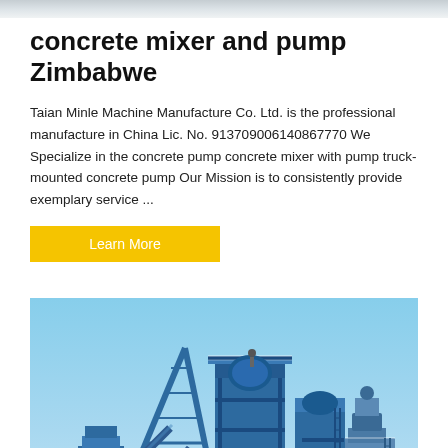concrete mixer and pump Zimbabwe
Taian Minle Machine Manufacture Co. Ltd. is the professional manufacture in China Lic. No. 913709006140867770 We Specialize in the concrete pump concrete mixer with pump truck-mounted concrete pump Our Mission is to consistently provide exemplary service ...
[Figure (photo): Industrial blue concrete mixing plant / batching plant machinery against a clear blue sky, with tall steel towers, conveyor belts, and scaffolding. A circular dark back-to-top arrow button is overlaid in the bottom-right corner.]